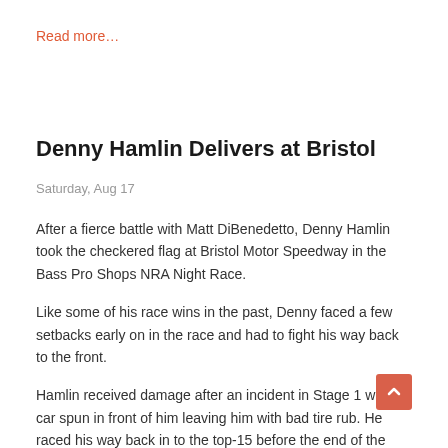Read more…
Denny Hamlin Delivers at Bristol
Saturday, Aug 17
After a fierce battle with Matt DiBenedetto, Denny Hamlin took the checkered flag at Bristol Motor Speedway in the Bass Pro Shops NRA Night Race.
Like some of his race wins in the past, Denny faced a few setbacks early on in the race and had to fight his way back to the front.
Hamlin received damage after an incident in Stage 1 when a car spun in front of him leaving him with bad tire rub. He raced his way back in to the top-15 before the end of the